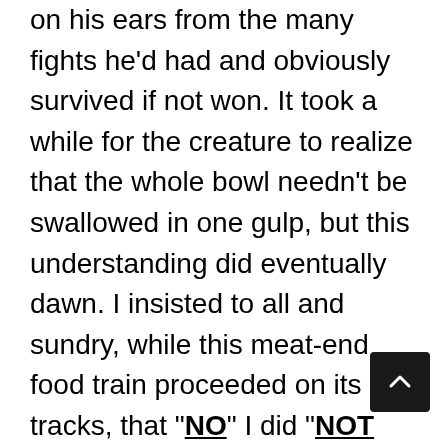on his ears from the many fights he'd had and obviously survived if not won. It took a while for the creature to realize that the whole bowl needn't be swallowed in one gulp, but this understanding did eventually dawn. I insisted to all and sundry, while this meat-end food train proceeded on its tracks, that "NO" I did "NOT have a cat now!"

The next thing I did, of course, was put an old, runky sleeping bag out on the porch and I bought the cheapest cat kibbles I could find (because I did NOT have a cat dammit!) and put those in the brown bowl instead of the cubed meat ends. Green & Greasy started to sleep in the folds of that ragged mess of sleeping bag. Right on that